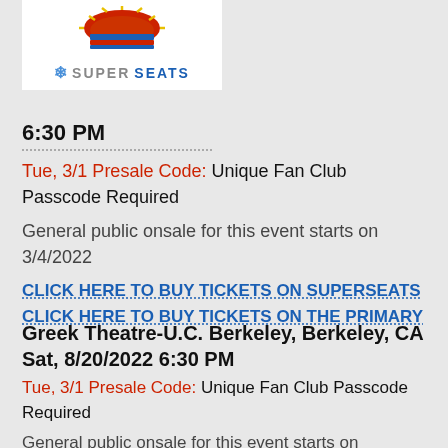[Figure (logo): SuperSeats logo with decorative sunburst/stadium graphic above and snowflake icon beside SUPERSEATS text]
6:30 PM
Tue, 3/1 Presale Code: Unique Fan Club Passcode Required
General public onsale for this event starts on 3/4/2022
CLICK HERE TO BUY TICKETS ON SUPERSEATS
CLICK HERE TO BUY TICKETS ON THE PRIMARY
Greek Theatre-U.C. Berkeley, Berkeley, CA Sat, 8/20/2022 6:30 PM
Tue, 3/1 Presale Code: Unique Fan Club Passcode Required
General public onsale for this event starts on 3/4/2022